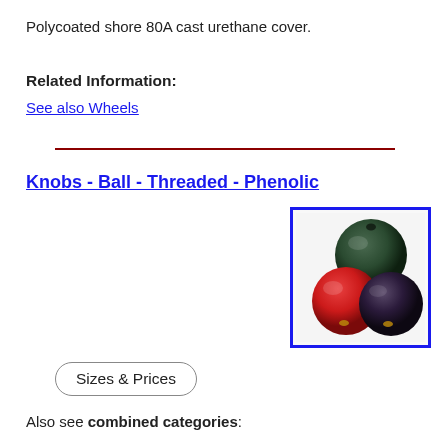Polycoated shore 80A cast urethane cover.
Related Information:
See also Wheels
Knobs - Ball - Threaded - Phenolic
[Figure (photo): Three phenolic ball knobs in black, red, and dark purple/black colors with threaded inserts, shown grouped together]
Sizes & Prices
Also see combined categories: